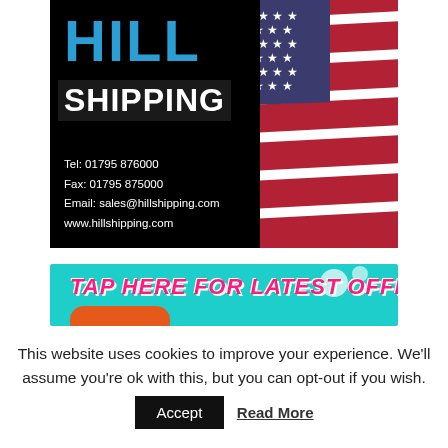[Figure (logo): Hill Shipping advertisement with company name in blue and white on black background, with US flag photo on the right side. Contact details: Tel: 01795 876000, Fax: 01795 875000, Email: sales@hillshipping.com, www.hillshipping.com]
[Figure (infographic): Teal/cyan banner with bold pink italic text 'TAP HERE FOR LATEST OFFERS' and an orange button at the bottom, with bubble decorations]
This website uses cookies to improve your experience. We'll assume you're ok with this, but you can opt-out if you wish.
Accept   Read More